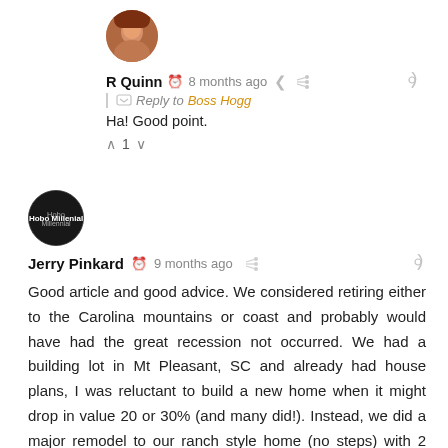[Figure (photo): Circular avatar photo of user R Quinn, showing a person with reddish tones]
R Quinn  8 months ago  Reply to Boss Hogg  Ha! Good point.  ^ 1 v
[Figure (photo): Circular dark avatar of user Jerry Pinkard with small white text initials]
Jerry Pinkard  9 months ago  Good article and good advice. We considered retiring either to the Carolina mountains or coast and probably would have had the great recession not occurred. We had a building lot in Mt Pleasant, SC and already had house plans, I was reluctant to build a new home when it might drop in value 20 or 30% (and many did!). Instead, we did a major remodel to our ranch style home (no steps) with 2 acres of wooded land and lots